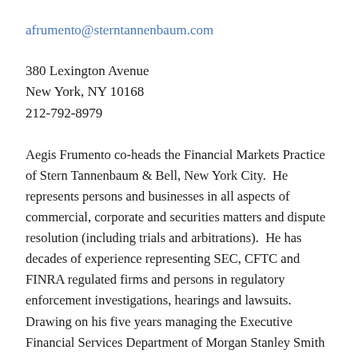afrumento@sterntannenbaum.com
380 Lexington Avenue
New York, NY 10168
212-792-8979
Aegis Frumento co-heads the Financial Markets Practice of Stern Tannenbaum & Bell, New York City.  He represents persons and businesses in all aspects of commercial, corporate and securities matters and dispute resolution (including trials and arbitrations).  He has decades of experience representing SEC, CFTC and FINRA regulated firms and persons in regulatory enforcement investigations, hearings and lawsuits.  Drawing on his five years managing the Executive Financial Services Department of Morgan Stanley Smith Barney, Aegis has rare depth of experience in the securities and corporate governance laws affecting senior